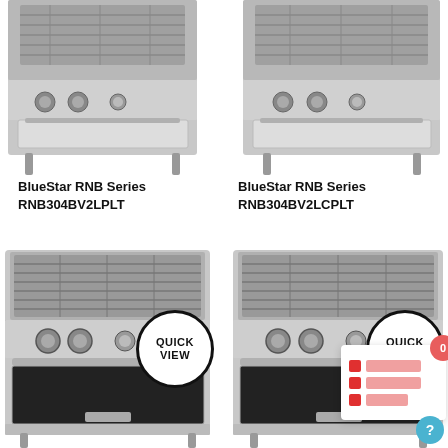[Figure (photo): BlueStar RNB Series range cooker product photo - top left, cropped showing bottom portion]
[Figure (photo): BlueStar RNB Series range cooker product photo - top right, cropped showing bottom portion]
BlueStar RNB Series RNB304BV2LPLT
BlueStar RNB Series RNB304BV2LCPLT
[Figure (photo): BlueStar RNB Series full range cooker product photo - bottom left with Quick View button overlay]
[Figure (photo): BlueStar RNB Series full range cooker product photo - bottom right with Quick View button overlay and comparison card UI]
[Figure (screenshot): Comparison tool overlay card with colored blocks and notification badge showing 0]